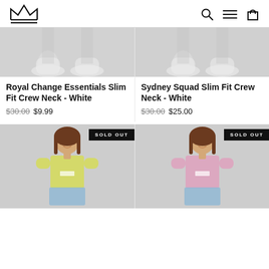Royal Change logo, search, menu, cart icons
[Figure (photo): Cropped product photo showing feet/legs of model wearing white crew neck shirt and white sneakers - left product]
[Figure (photo): Cropped product photo showing feet/legs of model wearing white crew neck shirt and sneakers - right product]
Royal Change Essentials Slim Fit Crew Neck - White
$30.00  $9.99
Sydney Squad Slim Fit Crew Neck - White
$30.00  $25.00
[Figure (photo): Model wearing yellow slim fit crew neck shirt with SOLD OUT badge]
[Figure (photo): Model wearing pink slim fit crew neck shirt with SOLD OUT badge]